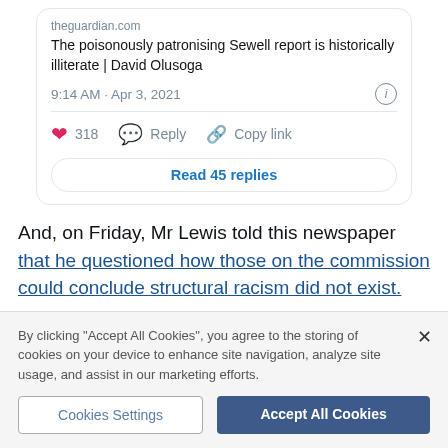[Figure (screenshot): Tweet card showing a Guardian article link titled 'The poisonously patronising Sewell report is historically illiterate | David Olusoga' with timestamp 9:14 AM · Apr 3, 2021, 318 likes, Reply, Copy link actions, and Read 45 replies button]
And, on Friday, Mr Lewis told this newspaper that he questioned how those on the commission could conclude structural racism did not exist.
By clicking "Accept All Cookies", you agree to the storing of cookies on your device to enhance site navigation, analyze site usage, and assist in our marketing efforts.
Cookies Settings
Accept All Cookies